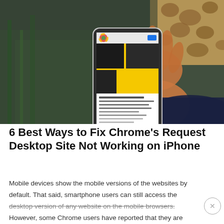[Figure (photo): A hand holding a smartphone displaying a webpage with Chrome browser open, showing a yellow/black design. Background includes green foliage and a giraffe pattern.]
6 Best Ways to Fix Chrome's Request Desktop Site Not Working on iPhone
Mobile devices show the mobile versions of the websites by default. That said, smartphone users can still access the desktop version of any website on the mobile browsers. However, some Chrome users have reported that they are